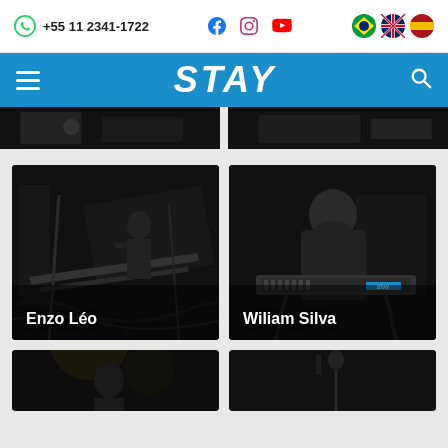+55 11 2341-1722
STAY
[Figure (photo): Partial dark photo strip at top, two grayscale music/concert photos partially visible]
[Figure (photo): Grayscale photo of Enzo Léo - musician standing near keyboard/synthesizer equipment in dark setting]
Enzo Léo
[Figure (photo): Grayscale photo of Wiliam Silva - bearded musician sitting at keyboard instrument, smiling]
Wiliam Silva
[Figure (photo): Two partial grayscale photos at bottom of page, musicians partially visible]